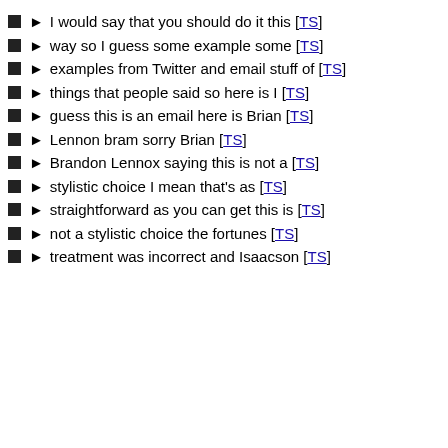I would say that you should do it this [TS]
way so I guess some example some [TS]
examples from Twitter and email stuff of [TS]
things that people said so here is I [TS]
guess this is an email here is Brian [TS]
Lennon bram sorry Brian [TS]
Brandon Lennox saying this is not a [TS]
stylistic choice I mean that's as [TS]
straightforward as you can get this is [TS]
not a stylistic choice the fortunes [TS]
treatment was incorrect and Isaacson [TS]